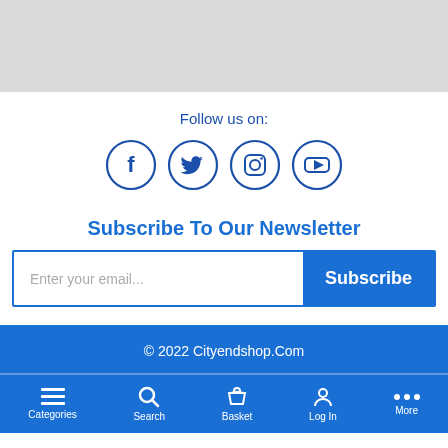[Figure (screenshot): Gray top banner area]
Follow us on:
[Figure (infographic): Four social media icons in circles: Facebook, Twitter, Instagram, YouTube]
Subscribe To Our Newsletter
[Figure (screenshot): Email input field with placeholder 'Enter your email...' and a blue 'Subscribe' button]
© 2022 Cityendshop.Com
Categories   Search   Basket   Log In   More